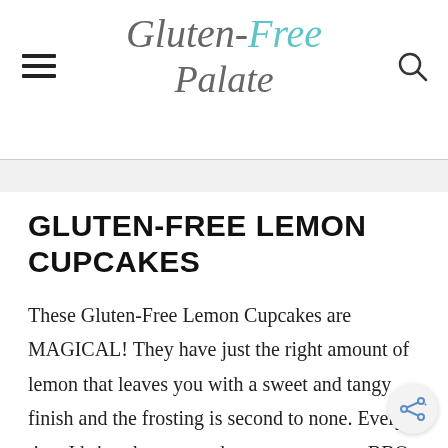Gluten-Free Palate
GLUTEN-FREE LEMON CUPCAKES
These Gluten-Free Lemon Cupcakes are MAGICAL! They have just the right amount of lemon that leaves you with a sweet and tangy finish and the frosting is second to none. Every time I bring these cupcakes to a party or a BBQ people tell me how